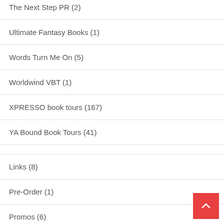The Next Step PR (2)
Ultimate Fantasy Books (1)
Words Turn Me On (5)
Worldwind VBT (1)
XPRESSO book tours (167)
YA Bound Book Tours (41)
Links (8)
Pre-Order (1)
Promos (6)
Quotes (9)